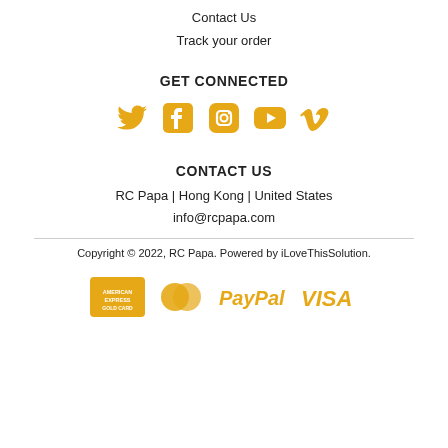Contact Us
Track your order
GET CONNECTED
[Figure (illustration): Five social media icons in gold/amber color: Twitter bird, Facebook f, Instagram camera, YouTube play button, Vimeo V]
CONTACT US
RC Papa | Hong Kong | United States
info@rcpapa.com
Copyright © 2022, RC Papa. Powered by iLoveThisSolution.
[Figure (illustration): Four payment method logos in gold/amber color: American Express, Mastercard, PayPal, Visa]